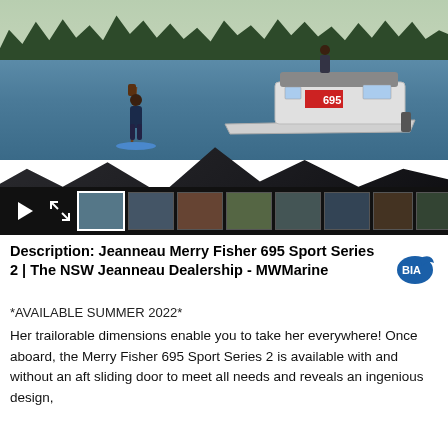[Figure (photo): Jeanneau Merry Fisher 695 Sport Series 2 boat on water near rocky shoreline with trees in background; person standing on paddleboard in foreground; image gallery thumbnail strip at bottom with play and expand buttons]
Description: Jeanneau Merry Fisher 695 Sport Series 2 | The NSW Jeanneau Dealership - MWMarine
*AVAILABLE SUMMER 2022*
Her trailorable dimensions enable you to take her everywhere! Once aboard, the Merry Fisher 695 Sport Series 2 is available with and without an aft sliding door to meet all needs and reveals an ingenious design, featuring a spacious side deck and a 3-place pilot seat